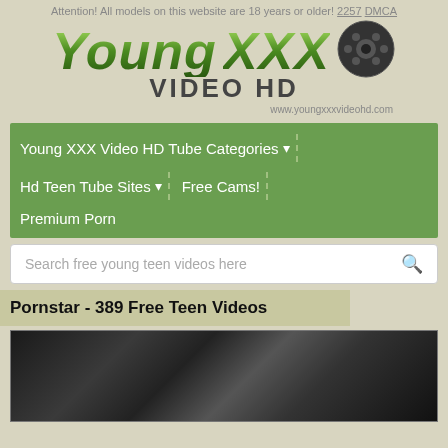Attention! All models on this website are 18 years or older! 2257 DMCA
[Figure (logo): Young XXX Video HD website logo with film reel graphic and URL www.youngxxxvideohd.com]
Young XXX Video HD Tube Categories ▾
Hd Teen Tube Sites ▾ | Free Cams!
Premium Porn
Search free young teen videos here
Pornstar - 389 Free Teen Videos
[Figure (photo): Thumbnail image partially visible at bottom of page]